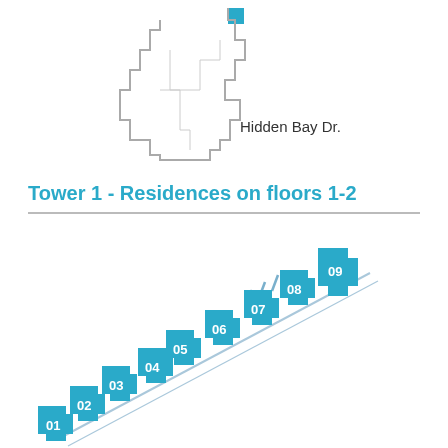[Figure (map): Small building footprint outline map showing location near Hidden Bay Dr. with a small blue square marker at top right of the outlined polygon.]
Hidden Bay Dr.
Tower 1 - Residences on floors 1-2
[Figure (map): Floor plan map of Tower 1 residences on floors 1-2 showing 9 teal/blue unit footprints numbered 01 through 09, arranged diagonally from lower-left to upper-right, with a diagonal Marina road line and dock markers above them.]